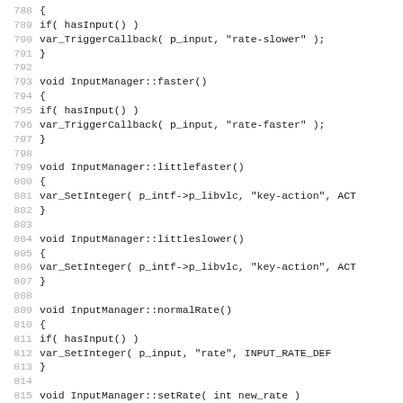Code listing lines 788-819 showing InputManager C++ methods: faster, littlefaster, littleslower, normalRate, setRate